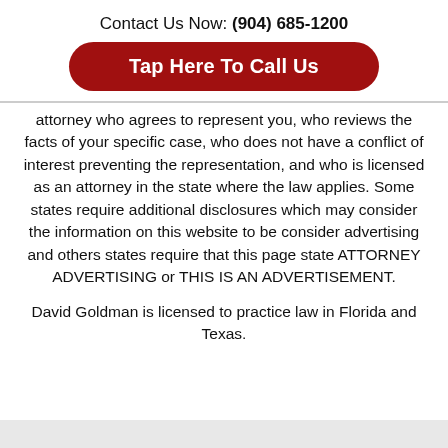Contact Us Now: (904) 685-1200
Tap Here To Call Us
attorney who agrees to represent you, who reviews the facts of your specific case, who does not have a conflict of interest preventing the representation, and who is licensed as an attorney in the state where the law applies. Some states require additional disclosures which may consider the information on this website to be consider advertising and others states require that this page state ATTORNEY ADVERTISING or THIS IS AN ADVERTISEMENT.
David Goldman is licensed to practice law in Florida and Texas.